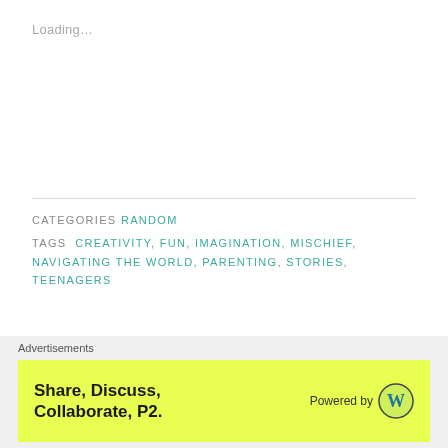Loading…
CATEGORIES RANDOM
TAGS CREATIVITY, FUN, IMAGINATION, MISCHIEF, NAVIGATING THE WORLD, PARENTING, STORIES, TEENAGERS
Mixed Up
PUBLISHED ON December 4, 2015
Advertisements
[Figure (other): Advertisement banner: Share, Discuss, Collaborate, P2. Powered by WordPress logo. Yellow background.]